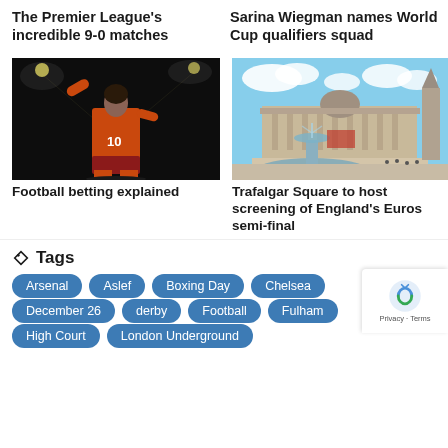The Premier League's incredible 9-0 matches
Sarina Wiegman names World Cup qualifiers squad
[Figure (photo): Football player wearing number 10 orange jersey viewed from behind, arms raised, stadium lights in background]
[Figure (photo): Trafalgar Square in London with fountain in foreground and National Gallery building in background under a blue sky with clouds]
Football betting explained
Trafalgar Square to host screening of England's Euros semi-final
Tags
Arsenal
Aslef
Boxing Day
Chelsea
December 26
derby
Football
Fulham
High Court
London Underground